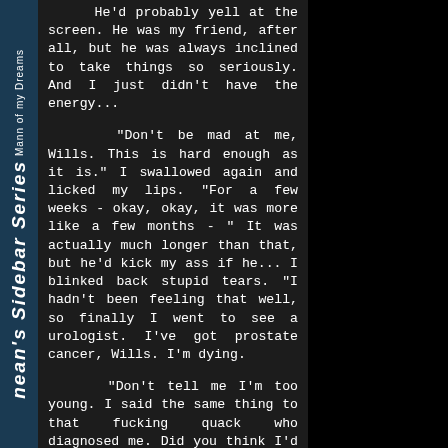[Figure (other): Vertical sidebar with dark blue background showing rotated text: 'Mann of my Dreams' on top and 'nean's Sidebar Series' in large italic bold below]
He'd probably yell at the screen. He was my friend, after all, but he was always inclined to take things so seriously. And I just didn't have the energy...

"Don't be mad at me, Wills. This is hard enough as it is." I swallowed again and licked my lips. "For a few weeks - okay, okay, it was more like a few months - " It was actually much longer than that, but he'd kick my ass if he... I blinked back stupid tears. "I hadn't been feeling that well, so finally I went to see a urologist. I've got prostate cancer, Wills. I'm dying.

"Don't tell me I'm too young. I said the same thing to that fucking quack who diagnosed me. Did you think I'd take his word for it? I've been to every specialist on the East Coast, and they all told me the